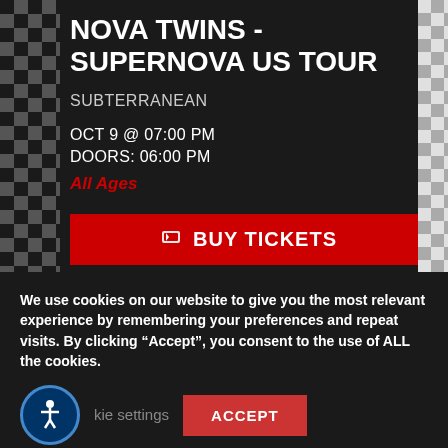NOVA TWINS - SUPERNOVA US TOUR
SUBTERRANEAN
OCT 9 @ 07:00 PM
DOORS: 06:00 PM
All Ages
[Figure (other): Red button with ticket icon labeled BUY TICKETS]
We use cookies on our website to give you the most relevant experience by remembering your preferences and repeat visits. By clicking “Accept”, you consent to the use of ALL the cookies.
kie settings
ACCEPT